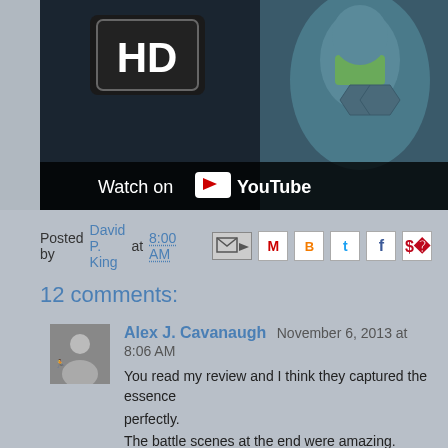[Figure (screenshot): YouTube video thumbnail showing an HD badge and a character in futuristic armor with 'Watch on YouTube' bar at bottom]
Posted by David P. King at 8:00 AM
12 comments:
Alex J. Cavanaugh November 6, 2013 at 8:06 AM
You read my review and I think they captured the essence perfectly.
The battle scenes at the end were amazing. Would've been even more so in 3D.
The morality issue was never fully realized in the film. Not enough time I guess.
Now to see if it makes enough to warrant a sequel.
Reply